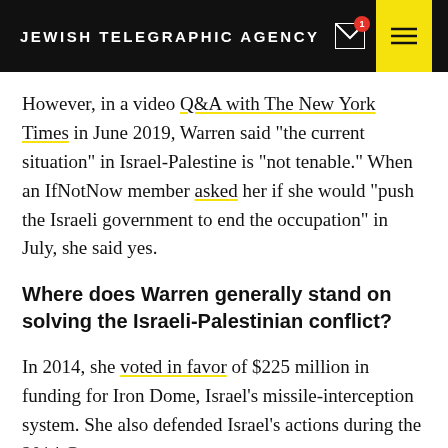JEWISH TELEGRAPHIC AGENCY
However, in a video Q&A with The New York Times in June 2019, Warren said “the current situation” in Israel-Palestine is “not tenable.” When an IfNotNow member asked her if she would “push the Israeli government to end the occupation” in July, she said yes.
Where does Warren generally stand on solving the Israeli-Palestinian conflict?
In 2014, she voted in favor of $225 million in funding for Iron Dome, Israel’s missile-interception system. She also defended Israel’s actions during the 2014 Gaza